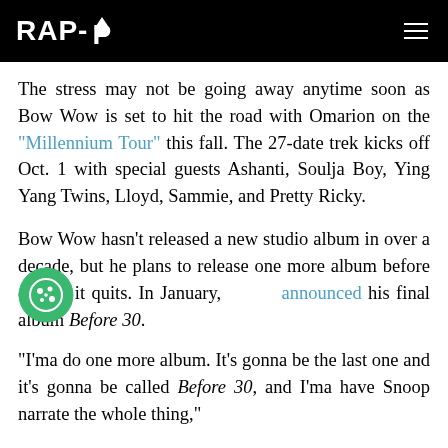RAP-UP
The stress may not be going away anytime soon as Bow Wow is set to hit the road with Omarion on the “Millennium Tour” this fall. The 27-date trek kicks off Oct. 1 with special guests Ashanti, Soulja Boy, Ying Yang Twins, Lloyd, Sammie, and Pretty Ricky.
Bow Wow hasn’t released a new studio album in over a decade, but he plans to release one more album before calling it quits. In January, he announced his final album Before 30.
“I’ma do one more album. It’s gonna be the last one and it’s gonna be called Before 30, and I’ma have Snoop narrate the whole thing,”